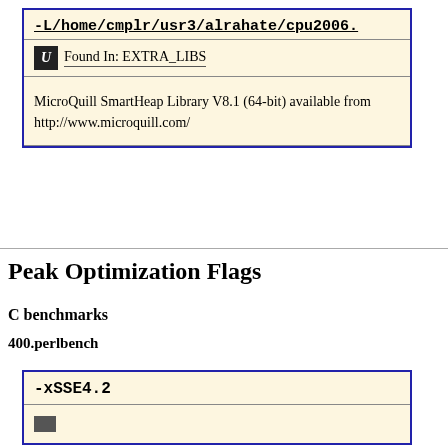[Figure (other): Flag box showing -L/home/cmplr/usr3/alrahate/cpu2006.x with Found In: EXTRA_LIBS and description about MicroQuill SmartHeap Library V8.1 (64-bit) available from http://www.microquill.com/]
Peak Optimization Flags
C benchmarks
400.perlbench
[Figure (other): Flag box showing -xSSE4.2 with a bar below]